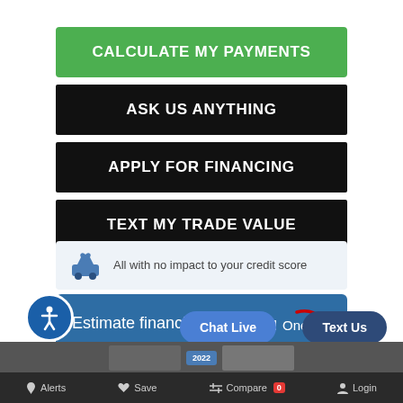CALCULATE MY PAYMENTS
ASK US ANYTHING
APPLY FOR FINANCING
TEXT MY TRADE VALUE
All with no impact to your credit score
Estimate financing
[Figure (logo): Capital One logo in white on blue background]
[Figure (illustration): Accessibility person-in-circle icon, white on blue circle]
Chat Live
Text Us
[Figure (photo): Dark photo strip showing a 2022 badge/award]
Alerts  Save  Compare 0  Login